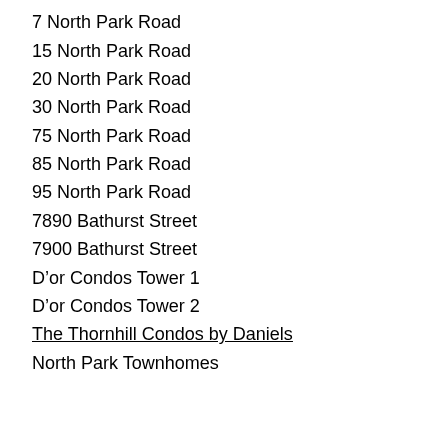7 North Park Road
15 North Park Road
20 North Park Road
30 North Park Road
75 North Park Road
85 North Park Road
95 North Park Road
7890 Bathurst Street
7900 Bathurst Street
D’or Condos Tower 1
D’or Condos Tower 2
The Thornhill Condos by Daniels
North Park Townhomes